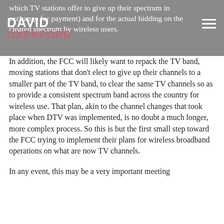which TV stations offer to give up their spectrum in exchange for payment) and for the actual bidding on the cleared spectrum by wireless users.
In addition, the FCC will likely want to repack the TV band, moving stations that don't elect to give up their channels to a smaller part of the TV band, to clear the same TV channels so as to provide a consistent spectrum band across the country for wireless use.  That plan, akin to the channel changes that took place when DTV was implemented, is no doubt a much longer, more complex process.  So this is but the first small step toward the FCC trying to implement their plans for wireless broadband operations on what are now TV channels.
In any event, this may be a very important meeting